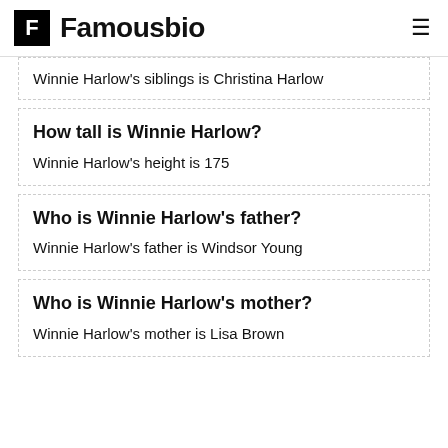Famousbio
Winnie Harlow's siblings is Christina Harlow
How tall is Winnie Harlow?
Winnie Harlow's height is 175
Who is Winnie Harlow's father?
Winnie Harlow's father is Windsor Young
Who is Winnie Harlow's mother?
Winnie Harlow's mother is Lisa Brown